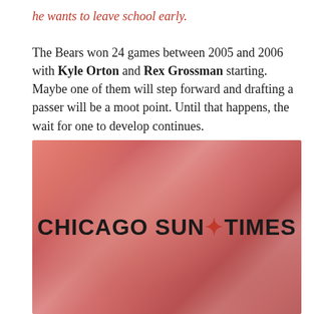he wants to leave school early.
The Bears won 24 games between 2005 and 2006 with Kyle Orton and Rex Grossman starting. Maybe one of them will step forward and drafting a passer will be a moot point. Until that happens, the wait for one to develop continues.
[Figure (photo): Blurred red-toned photo of a person's face with Chicago Sun-Times logo overlay in the center]